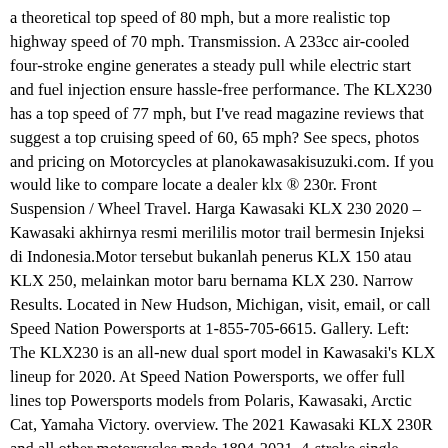a theoretical top speed of 80 mph, but a more realistic top highway speed of 70 mph. Transmission. A 233cc air-cooled four-stroke engine generates a steady pull while electric start and fuel injection ensure hassle-free performance. The KLX230 has a top speed of 77 mph, but I've read magazine reviews that suggest a top cruising speed of 60, 65 mph? See specs, photos and pricing on Motorcycles at planokawasakisuzuki.com. If you would like to compare locate a dealer klx ® 230r. Front Suspension / Wheel Travel. Harga Kawasaki KLX 230 2020 – Kawasaki akhirnya resmi merililis motor trail bermesin Injeksi di Indonesia.Motor tersebut bukanlah penerus KLX 150 atau KLX 250, melainkan motor baru bernama KLX 230. Narrow Results. Located in New Hudson, Michigan, visit, email, or call Speed Nation Powersports at 1-855-705-6615. Gallery. Left: The KLX230 is an all-new dual sport model in Kawasaki's KLX lineup for 2020. At Speed Nation Powersports, we offer full lines top Powersports models from Polaris, Kawasaki, Arctic Cat, Yamaha Victory. overview. The 2021 Kawasaki KLX 230R and all other motorcycles made 1894-2021. 4-stroke single, SOHC, air-cooled. Specifications. Engine. The flagship KLX® features strong power and versatile performance for taking on paved streets, backroads, wooded trails and beyond. 2021 KLX ® 230 ABS; 2021 KLX ® 150L; OFF-ROAD ... Top Features. Specifications. Join the Motorcycle.com Weekly Newsletter to keep up to date on all things motorcycling. Dual-purpose ABS assists stopping performance on low-friction